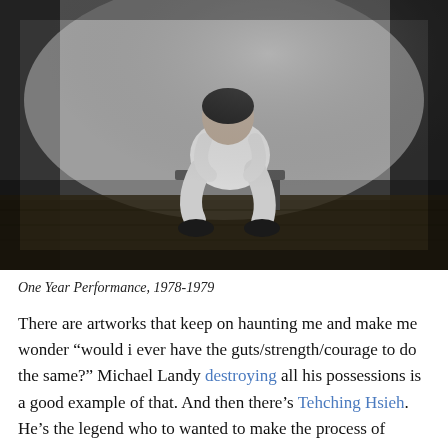[Figure (photo): Black and white photograph of a person sitting hunched over on a stool or bench, head bowed down into their hands, wearing white clothing and dark shoes, in a sparse room with wooden floor.]
One Year Performance, 1978-1979
There are artworks that keep on haunting me and make me wonder “would i ever have the guts/strength/courage to do the same?” Michael Landy destroying all his possessions is a good example of that. And then there’s Tehching Hsieh. He’s the legend who to wanted to make the process of thinking about art an artwork in its own right. He did